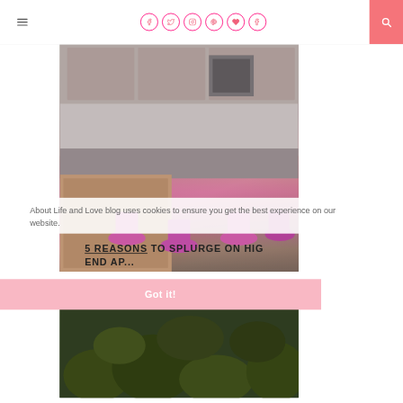Navigation header with hamburger menu, social icons (Facebook, Twitter, Instagram, Pinterest, Heart, Tumblr), and search button
[Figure (photo): Kitchen interior with dark countertop, pink/magenta bar stools, and wood accents — blurred lifestyle photo]
About Life and Love blog uses cookies to ensure you get the best experience on our website.
5 REASONS TO SPLURGE ON HIGH END AP...
Got it!
[Figure (photo): Blurred green plant/foliage photo at bottom of page]